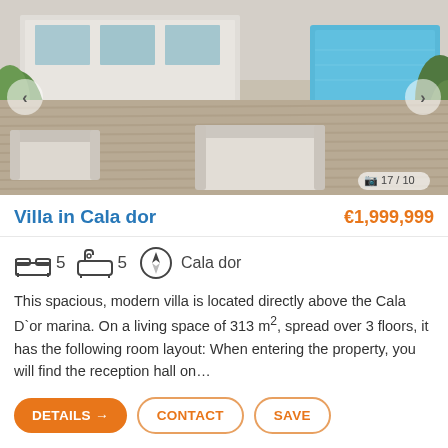[Figure (photo): Exterior photo of modern villa with wooden deck, white outdoor furniture, pool visible in background, surrounded by greenery]
Villa in Cala dor
€1,999,999
5  5  Cala dor
This spacious, modern villa is located directly above the Cala D`or marina. On a living space of 313 m², spread over 3 floors, it has the following room layout: When entering the property, you will find the reception hall on…
DETAILS →  CONTACT  SAVE
[Figure (photo): Exterior photo of white modern villa partially visible through green trees against blue sky]